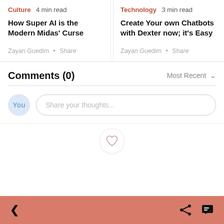Culture  4 min read
How Super AI is the Modern Midas' Curse
Zayan Guedim • Share
Technology  3 min read
Create Your own Chatbots with Dexter now; it's Easy
Zayan Guedim • Share
Comments (0)
Most Recent ∨
Share your thoughts...